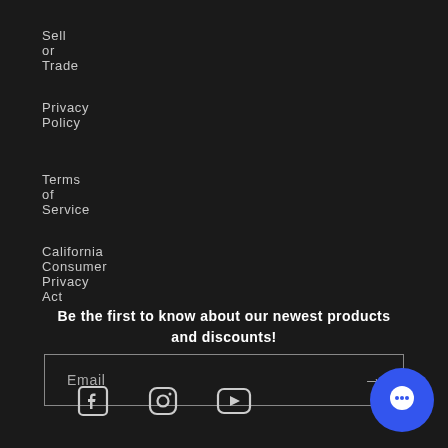Sell or Trade
Privacy Policy
Terms of Service
California Consumer Privacy Act
Be the first to know about our newest products and discounts!
Email
[Figure (infographic): Social media icons: Facebook, Instagram, YouTube]
[Figure (other): Blue circular chat bubble button in bottom right corner]